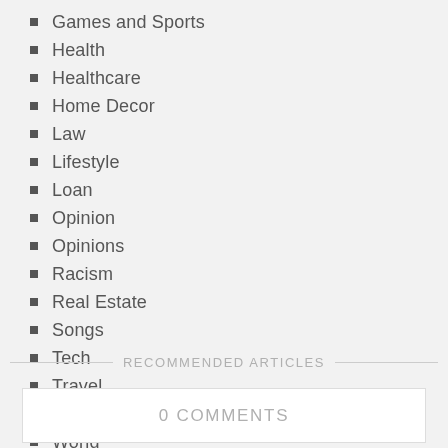Games and Sports
Health
Healthcare
Home Decor
Law
Lifestyle
Loan
Opinion
Opinions
Racism
Real Estate
Songs
Tech
Travel
Wedding
World
RECOMMENDED ARTICLES
0 COMMENTS